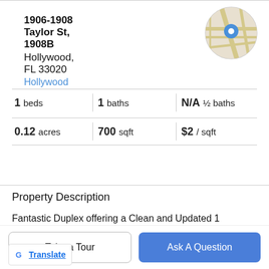1906-1908 Taylor St, 1908B
Hollywood, FL 33020
Hollywood
[Figure (map): Circular map thumbnail with a blue location pin marker over a street map of Hollywood, FL]
1 beds | 1 baths | N/A ½ baths
0.12 acres | 700 sqft | $2 / sqft
🎥 Virtual Tour
Property Description
Fantastic Duplex offering a Clean and Updated 1 bedroom 1 bathroom unit with stainless steel appliances, tile floors and a very quiet clean family neighborhood. This unit is
located just blocks from Down Town Hollywood, minutes
Take a Tour
Ask A Question
G Translate